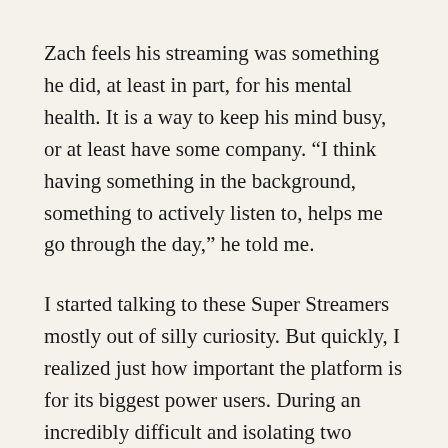Zach feels his streaming was something he did, at least in part, for his mental health. It is a way to keep his mind busy, or at least have some company. “I think having something in the background, something to actively listen to, helps me go through the day,” he told me.
I started talking to these Super Streamers mostly out of silly curiosity. But quickly, I realized just how important the platform is for its biggest power users. During an incredibly difficult and isolating two years, people have turned to streaming music services (among other things) to fill voids. And while having something to listen to at any moment